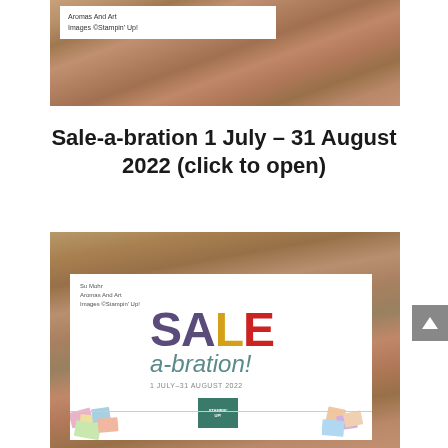[Figure (photo): Top portion of a photo showing a white card on a wooden surface with text 'Su Mohr Aromas And Art Images ©Stampin' Up!']
Aromas And Art
Images ©Stampin' Up!
Sale-a-bration 1 July – 31 August 2022 (click to open)
[Figure (photo): Photo of a Stampin' Up! Sale-a-bration catalog cover on a wooden surface, showing the text 'SALE a-bration! 1 JULY–31 AUGUST 2022' with Su Mohr, Aromas And Art, Images ©Stampin' Up! in top left corner, colorful paper pieces at bottom corners, and Stampin' Up! logo at bottom center]